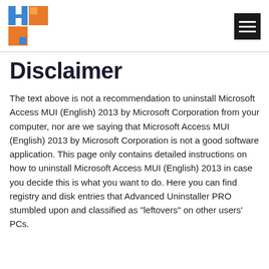[Logo: Advanced Uninstaller PRO] [Hamburger menu icon]
Disclaimer
The text above is not a recommendation to uninstall Microsoft Access MUI (English) 2013 by Microsoft Corporation from your computer, nor are we saying that Microsoft Access MUI (English) 2013 by Microsoft Corporation is not a good software application. This page only contains detailed instructions on how to uninstall Microsoft Access MUI (English) 2013 in case you decide this is what you want to do. Here you can find registry and disk entries that Advanced Uninstaller PRO stumbled upon and classified as "leftovers" on other users' PCs.